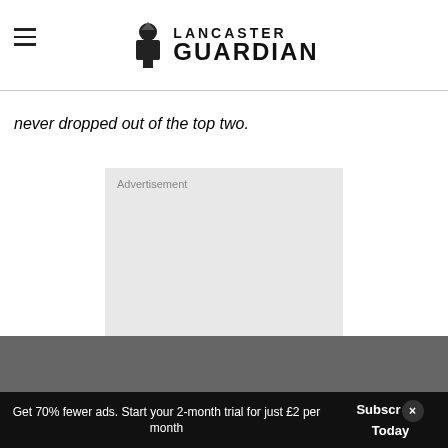Lancaster Guardian
never dropped out of the top two.
[Figure (other): Advertisement placeholder box with grey background]
Get 70% fewer ads. Start your 2-month trial for just £2 per month | Subscribe Today